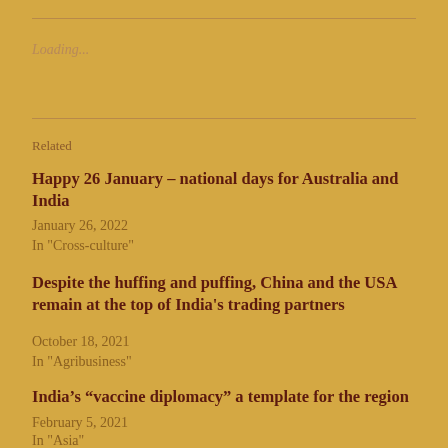Loading...
Related
Happy 26 January – national days for Australia and India
January 26, 2022
In "Cross-culture"
Despite the huffing and puffing, China and the USA remain at the top of India's trading partners
October 18, 2021
In "Agribusiness"
India’s “vaccine diplomacy” a template for the region
February 5, 2021
In "Asia"